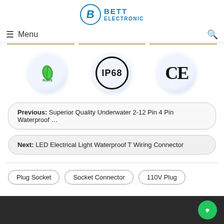[Figure (logo): Bett Electronic logo with stylized B in circle and company name]
≡  Menu
[Figure (illustration): Three certification badges: RoHS (green leaf), IP68 (circular border), CE mark]
Previous:  Superior Quality Underwater 2-12 Pin 4 Pin Waterproof …
Next:  LED Electrical Light Waterproof T Wiring Connector
Plug Socket
Socket Connector
110V Plug